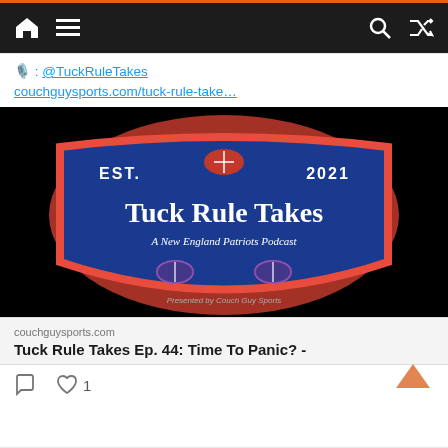Navigation bar with home, menu, search, and shuffle icons
🎙️: @TuckRuleTakes
couchguysports.com/tuck-rule-take…
[Figure (photo): Tuck Rule Takes podcast logo — blue shield with red border, text 'EST. 2021', 'Tuck Rule Takes', 'A New England Patriots Podcast', 'Presented by Couch Guy Sports']
couchguysports.com
Tuck Rule Takes Ep. 44: Time To Panic? -
❤ 1